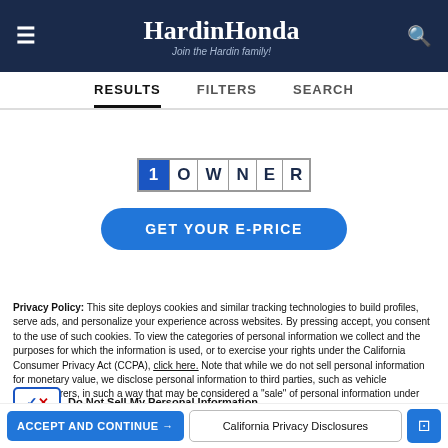HardinHonda - Join the Hardin family!
RESULTS   FILTERS   SEARCH
[Figure (logo): 1 OWNER badge with blue 1 and individual letter tiles spelling OWNER]
GET YOUR E-PRICE
Privacy Policy: This site deploys cookies and similar tracking technologies to build profiles, serve ads, and personalize your experience across websites. By pressing accept, you consent to the use of such cookies. To view the categories of personal information we collect and the purposes for which the information is used, or to exercise your rights under the California Consumer Privacy Act (CCPA), click here. Note that while we do not sell personal information for monetary value, we disclose personal information to third parties, such as vehicle manufacturers, in such a way that may be considered a "sale" of personal information under the CCPA. To direct us to stop the sale of your personal information, or to re-access these settings or disclosures at anytime, click the following icon or link:
Do Not Sell My Personal Information
Language: English   Powered by ComplyAuto
ACCEPT AND CONTINUE →   California Privacy Disclosures